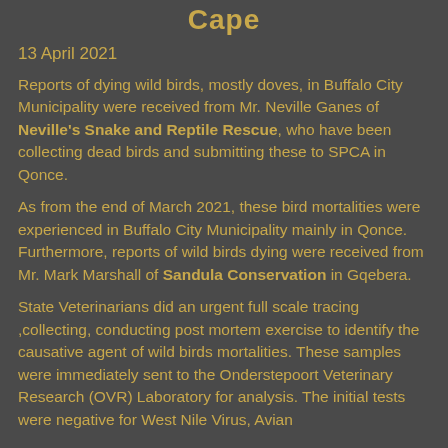Cape
13 April 2021
Reports of dying wild birds, mostly doves, in Buffalo City Municipality were received from Mr. Neville Ganes of Neville's Snake and Reptile Rescue, who have been collecting dead birds and submitting these to SPCA in Qonce.
As from the end of March 2021, these bird mortalities were experienced in Buffalo City Municipality mainly in Qonce. Furthermore, reports of wild birds dying were received from Mr. Mark Marshall of Sandula Conservation in Gqebera.
State Veterinarians did an urgent full scale tracing ,collecting, conducting post mortem exercise to identify the causative agent of wild birds mortalities. These samples were immediately sent to the Onderstepoort Veterinary Research (OVR) Laboratory for analysis. The initial tests were negative for West Nile Virus, Avian